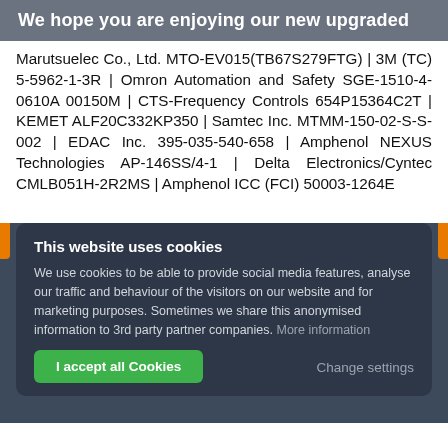We hope you are enjoying our new upgraded
Marutsuelec Co., Ltd. MTO-EV015(TB67S279FTG) | 3M (TC) 5-5962-1-3R | Omron Automation and Safety SGE-1510-4-0610A 00150M | CTS-Frequency Controls 654P15364C2T | KEMET ALF20C332KP350 | Samtec Inc. MTMM-150-02-S-S-002 | EDAC Inc. 395-035-540-658 | Amphenol NEXUS Technologies AP-146SS/4-1 | Delta Electronics/Cyntec CMLB051H-2R2MS | Amphenol ICC (FCI) 50003-1264E
This website uses cookies
We use cookies to be able to provide social media features, analyse our traffic and behaviour of the visitors on our website and for marketing purposes. Sometimes we share this anonymised information to 3rd party partner companies. More information
I accept all Cookies
Change settings